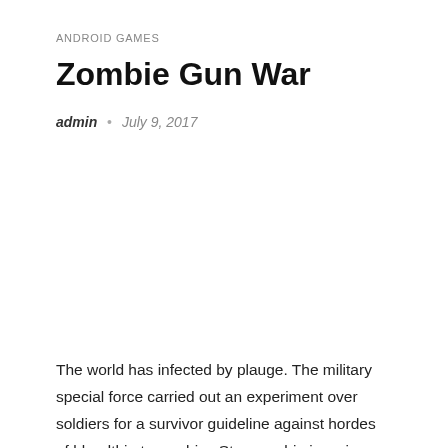ANDROID GAMES
Zombie Gun War
admin  •  July 9, 2017
The world has infected by plauge. The military special force carried out an experiment over soldiers for a survivor guideline against hordes of bloodthirsty zombies.Stop zombie invasion and save your girl from zombie\'s hands!Now available on the